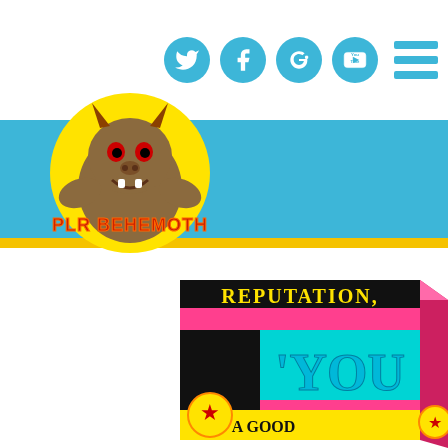[Figure (logo): PLR Behemoth logo - monster creature with text 'PLR BEHEMOTH' in orange/red on yellow circle background]
[Figure (screenshot): Website header with social media icons (Twitter, Facebook, Google+, YouTube) and hamburger menu on white background, blue banner, yellow stripe]
[Figure (photo): Colorful product box with text 'REPUTATION', 'YOU', 'A GOOD' on pink/cyan/black background with yellow text]